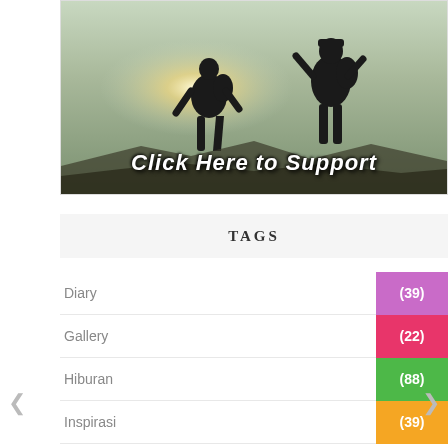[Figure (photo): Banner image with two silhouetted hikers on a mountain top against a bright sky with sun flare, overlaid with stylized text 'Click Here to Support']
TAGS
Diary (39)
Gallery (22)
Hiburan (88)
Inspirasi (39)
Kuliner (26)